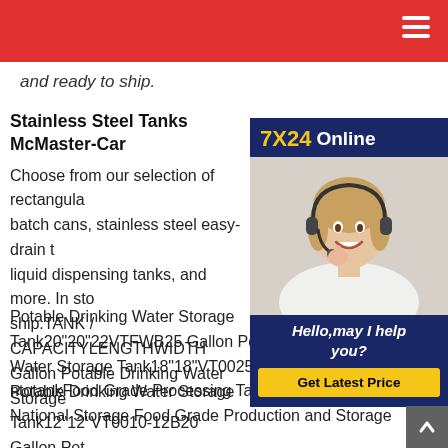and ready to ship.
Stainless Steel Tanks McMaster-Car
[Figure (photo): Customer service representative with headset - 7X24 Online advertisement with 'Hello, may I help you?' and 'Get Latest Price' button]
Choose from our selection of rectangular batch cans, stainless steel easy-drain liquid dispensing tanks, and more. In stock and ready to ship.TANK / CAPACITYLENGTHWIDTH Gallon Potable Drinking Water Storage Tank12"12"VT0010-12B20 Gallon Potable Water Storage Tank16"16"VT0020-16 Potable Drinking Water Storage Tank20"20"22VTFWB25 Gallon Potable Drinking Water Storage Tank18"18"VT0025-18B 309 rows on ntotankFood Grade Processing Tanks - Brewery-National Storage Food Grade Production and Storage